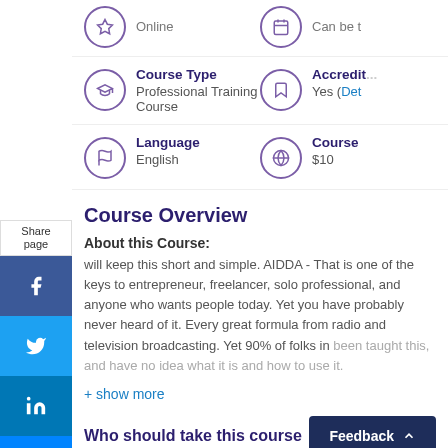Online
Can be t...
Course Type
Professional Training Course
Accredit...
Yes (Det...
Language
English
Course
$10
Course Overview
About this Course:
will keep this short and simple. AIDDA - That is one of the keys to entrepreneur, freelancer, solo professional, and anyone who wants people today. Yet you have probably never heard of it. Every great formula from radio and television broadcasting. Yet 90% of folks in been taught this, and have no idea what it is and how to use it.
+ show more
Who should take this course
Feedback